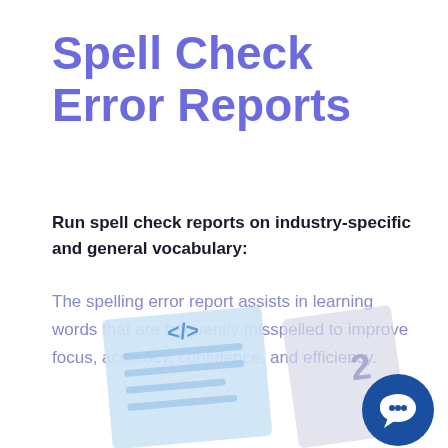Spell Check Error Reports
Run spell check reports on industry-specific and general vocabulary:
The spelling error report assists in learning words that are frequently misspelled to improve focus, accuracy, confidence, and efficiency.
[Figure (illustration): Isometric illustration of documents/papers with spell check symbols and a dark blue chat bubble icon in the bottom right corner]